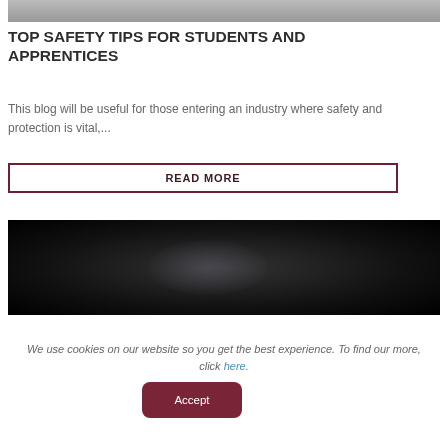[Figure (photo): Top partial image, appears to be a blurred background scene, cropped at top]
TOP SAFETY TIPS FOR STUDENTS AND APPRENTICES
This blog will be useful for those entering an industry where safety and protection is vital,...
READ MORE
[Figure (photo): A dark dramatic photo of a safety boot/shoe being held against a black background with dust/debris particles]
We use cookies on our website so you get the best experience. To find our more, click here.
Accept